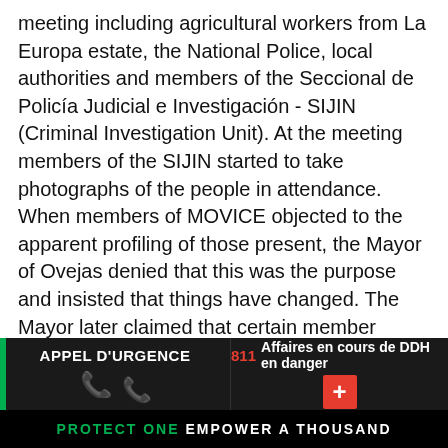meeting including agricultural workers from La Europa estate, the National Police, local authorities and members of the Seccional de Policía Judicial e Investigación - SIJIN (Criminal Investigation Unit). At the meeting members of the SIJIN started to take photographs of the people in attendance. When members of MOVICE objected to the apparent profiling of those present, the Mayor of Ovejas denied that this was the purpose and insisted that things have changed. The Mayor later claimed that certain member organisations of MOVICE had links with the Fuerzas Armadas Revolucionarias de Colombia - FARC (Colombian Revolutionary Armed Forces). On 23 March 2011, MOVICE member Eder Verbel was killed by paramilitaries. On the 17th May 2011 a person who knew one of Eder Verbel's alleged killers told a friend of the family that he was going to poison
APPEL D'URGENCE | 811 Affaires en cours de DDH en danger | PROTECT ONE EMPOWER A THOUSAND